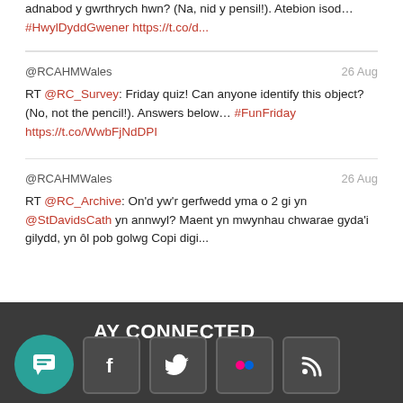adnabod y gwrthrych hwn? (Na, nid y pensil!). Atebion isod… #HwylDyddGwener https://t.co/d...
@RCAHMWales  26 Aug
RT @RC_Survey: Friday quiz! Can anyone identify this object? (No, not the pencil!). Answers below… #FunFriday https://t.co/WwbFjNdDPI
@RCAHMWales  26 Aug
RT @RC_Archive: On'd yw'r gerfwedd yma o 2 gi yn @StDavidsCath yn annwyl? Maent yn mwynhau chwarae gyda'i gilydd, yn ôl pob golwg Copi digi...
AY CONNECTED